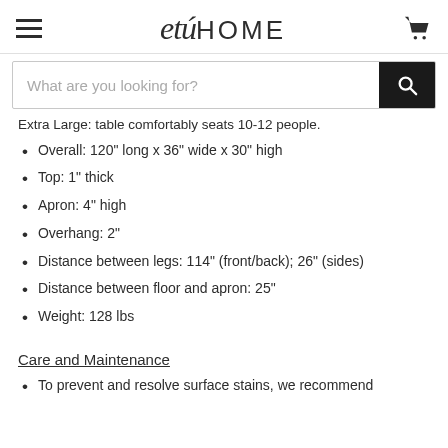etuHOME
Extra Large: table comfortably seats 10-12 people.
Overall: 120" long x 36" wide x 30" high
Top: 1" thick
Apron: 4" high
Overhang: 2"
Distance between legs: 114" (front/back); 26" (sides)
Distance between floor and apron: 25"
Weight: 128 lbs
Care and Maintenance
To prevent and resolve surface stains, we recommend